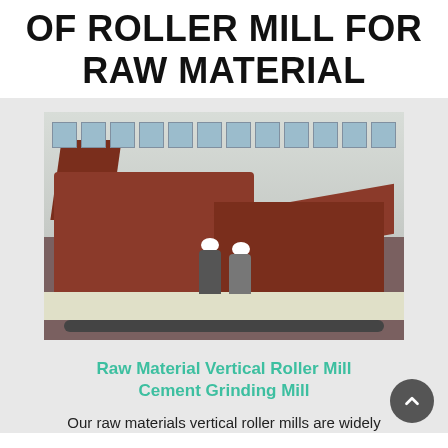OF ROLLER MILL FOR RAW MATERIAL
[Figure (photo): Industrial photo of a large orange/red roller mill machine loaded on a flatbed trailer in a warehouse/industrial facility, with two workers in hard hats standing nearby]
Raw Material Vertical Roller Mill Cement Grinding Mill
Our raw materials vertical roller mills are widely